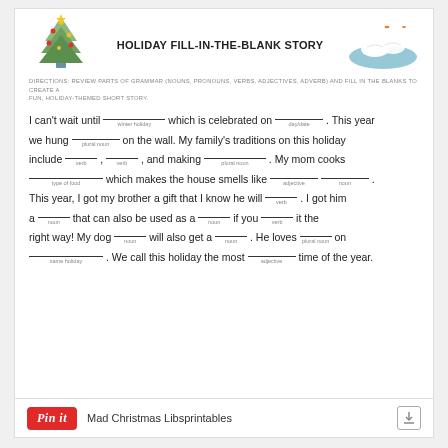[Figure (illustration): Christmas tree illustration with ornaments and blue pot]
HOLIDAY FILL-IN-THE-BLANK STORY
[Figure (illustration): Two white swans on blue water illustration]
DIRECTIONS: REVIEW PARTS OF GRAMMAR (NOUNS, PRONOUNS, VERBS, ADJECTIVES, ADVERB) AND FILL IN THE BLANKS TO CREATE A FUN, HOLIDAY-THEMED SHORT STORY.
I can't wait until __________ which is celebrated on _________. This year we hung _______ on the wall. My family's traditions on this holiday include ________, __________, and making ___________. My mom cooks _________ which makes the house smells like _________ ___________. This year, I got my brother a gift that I know he will _______. I got him a _______ that can also be used as a ________ if you _______ it the right way! My dog ______ will also get a _______. He loves _______ on ___________. We call this holiday the most ________ time of the year.
Mad Christmas Libsprintables